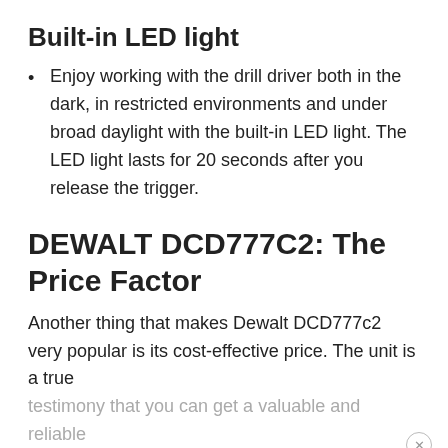Built-in LED light
Enjoy working with the drill driver both in the dark, in restricted environments and under broad daylight with the built-in LED light. The LED light lasts for 20 seconds after you release the trigger.
DEWALT DCD777C2: The Price Factor
Another thing that makes Dewalt DCD777c2 very popular is its cost-effective price. The unit is a true testimony that you can get a valuable and reliable